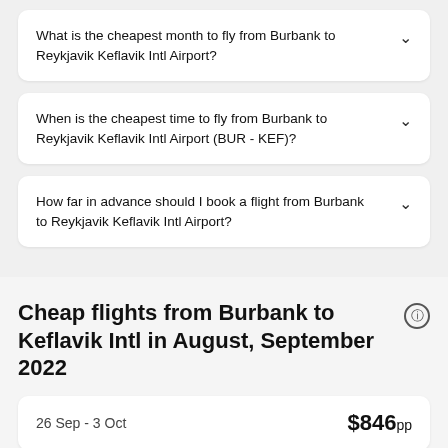What is the cheapest month to fly from Burbank to Reykjavik Keflavik Intl Airport?
When is the cheapest time to fly from Burbank to Reykjavik Keflavik Intl Airport (BUR - KEF)?
How far in advance should I book a flight from Burbank to Reykjavik Keflavik Intl Airport?
Cheap flights from Burbank to Keflavik Intl in August, September 2022
26 Sep - 3 Oct    $846pp